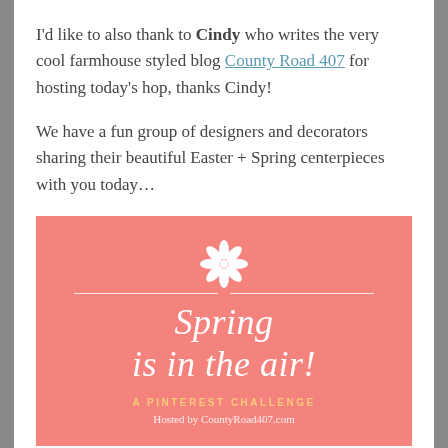I'd like to also thank to Cindy who writes the very cool farmhouse styled blog County Road 407 for hosting today's hop, thanks Cindy!
We have a fun group of designers and decorators sharing their beautiful Easter + Spring centerpieces with you today…
[Figure (infographic): Pink card with a flower/snowflake icon at top, horizontal divider lines, large italic text 'Spring is in the air!', subtitle 'A PINTEREST CHALLENGE' in gold/yellow, and 'Hosted by CountyRoad407.com' in white below.]